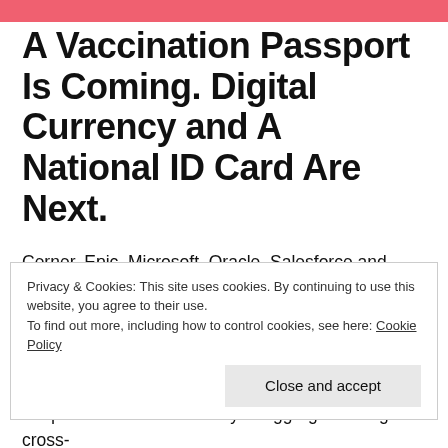A Vaccination Passport Is Coming. Digital Currency and A National ID Card Are Next.
Cerner, Epic, Microsoft, Oracle, Salesforce and more will spearhead the Vaccination Passport. Tickers mentioned: AAPL, AMZN, CERN, CHNG/UNH, CRM, FB, GOOG, MSFT, ORCL, RAMP One could argue that we already have National ID cards. Our digital footprint serves as a unique identifier and is easy to aggregate using cross-
Privacy & Cookies: This site uses cookies. By continuing to use this website, you agree to their use.
To find out more, including how to control cookies, see here: Cookie Policy
Close and accept